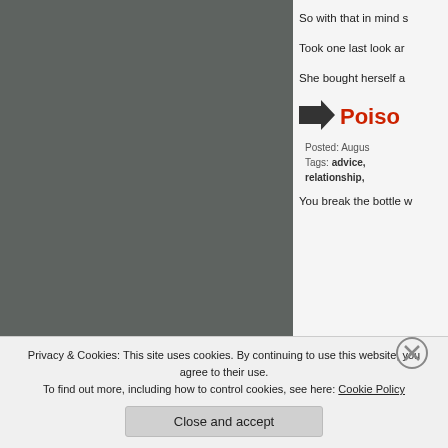[Figure (photo): Dark grey torn paper or book spine on left side of page]
So with that in mind s
Took one last look ar
She bought herself a
[Figure (other): Arrow icon pointing right]
Poiso
Posted: Augus
Tags: advice, relationship,
You break the bottle w
Privacy & Cookies: This site uses cookies. By continuing to use this website, you agree to their use.
To find out more, including how to control cookies, see here: Cookie Policy
Close and accept